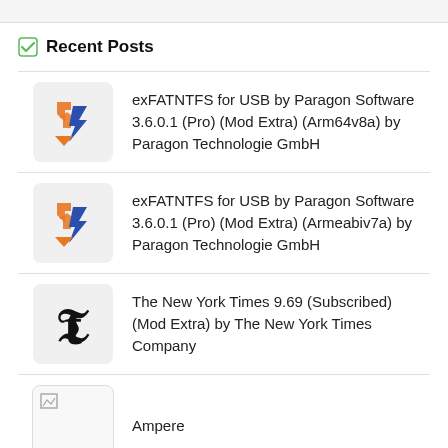Recent Posts
exFATNTFS for USB by Paragon Software 3.6.0.1 (Pro) (Mod Extra) (Arm64v8a) by Paragon Technologie GmbH
exFATNTFS for USB by Paragon Software 3.6.0.1 (Pro) (Mod Extra) (Armeabiv7a) by Paragon Technologie GmbH
The New York Times 9.69 (Subscribed) (Mod Extra) by The New York Times Company
Ampere